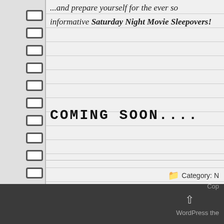...and prepare yourself for the ever so informative Saturday Night Movie Sleepovers!
COMING SOON....
Category: N
PREVIOUS PAGE  1  ...  10  11  12  13
Cop... WordPress the...